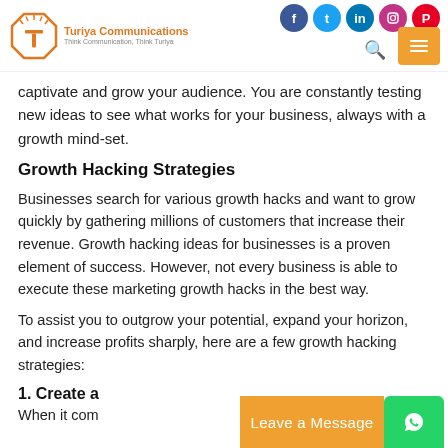Turiya Communications — Think Communication, Think Turiya
captivate and grow your audience. You are constantly testing new ideas to see what works for your business, always with a growth mind-set.
Growth Hacking Strategies
Businesses search for various growth hacks and want to grow quickly by gathering millions of customers that increase their revenue. Growth hacking ideas for businesses is a proven element of success. However, not every business is able to execute these marketing growth hacks in the best way.
To assist you to outgrow your potential, expand your horizon, and increase profits sharply, here are a few growth hacking strategies:
1. Create a
When it com...